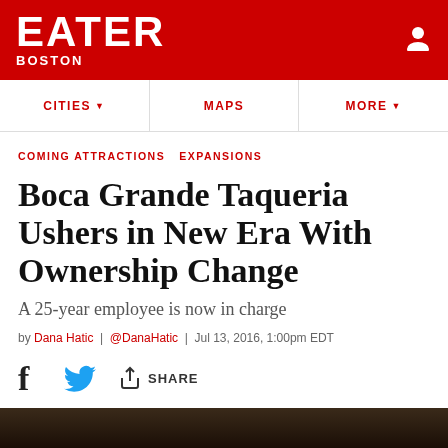EATER BOSTON
CITIES  MAPS  MORE
COMING ATTRACTIONS  EXPANSIONS
Boca Grande Taqueria Ushers in New Era With Ownership Change
A 25-year employee is now in charge
by Dana Hatic | @DanaHatic | Jul 13, 2016, 1:00pm EDT
f  [twitter]  [share] SHARE